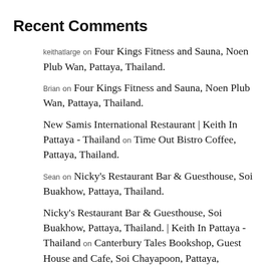Recent Comments
keithatlarge on Four Kings Fitness and Sauna, Noen Plub Wan, Pattaya, Thailand.
Brian on Four Kings Fitness and Sauna, Noen Plub Wan, Pattaya, Thailand.
New Samis International Restaurant | Keith In Pattaya - Thailand on Time Out Bistro Coffee, Pattaya, Thailand.
Sean on Nicky's Restaurant Bar & Guesthouse, Soi Buakhow, Pattaya, Thailand.
Nicky's Restaurant Bar & Guesthouse, Soi Buakhow, Pattaya, Thailand. | Keith In Pattaya - Thailand on Canterbury Tales Bookshop, Guest House and Cafe, Soi Chayapoon, Pattaya, Thailand.